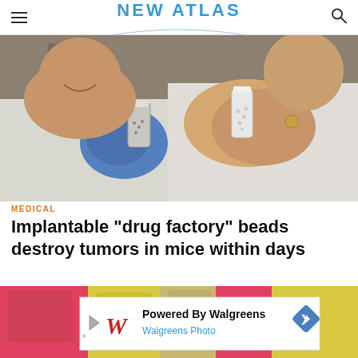NEW ATLAS
[Figure (photo): Two scientists in white lab coats holding small vials/bottles containing drug-delivery beads. One scientist is wearing blue nitrile gloves.]
MEDICAL
Implantable "drug factory" beads destroy tumors in mice within days
[Figure (photo): Colorful items (pink and yellow folded papers/boxes) on a table, partially visible at the bottom of the page. A Walgreens-sponsored advertisement banner overlays the bottom of this image.]